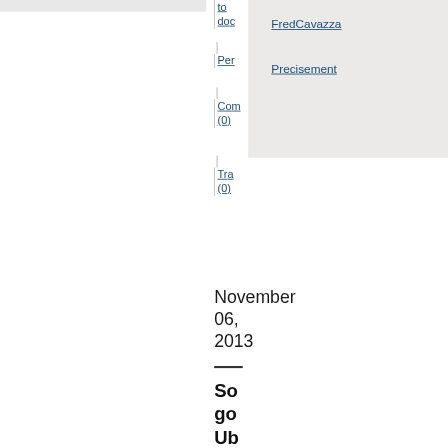to doc
Per
Com (0)
Tra (0)
FredCavazza
Precisement
November 06, 2013
So go Ub fo me th or
...
http
http